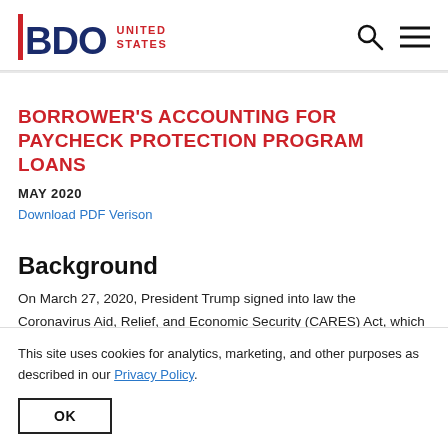BDO UNITED STATES
BORROWER'S ACCOUNTING FOR PAYCHECK PROTECTION PROGRAM LOANS
MAY 2020
Download PDF Verison
Background
On March 27, 2020, President Trump signed into law the Coronavirus Aid, Relief, and Economic Security (CARES) Act, which provides relief to taxpayers affected by the novel coronavirus
This site uses cookies for analytics, marketing, and other purposes as described in our Privacy Policy.
OK